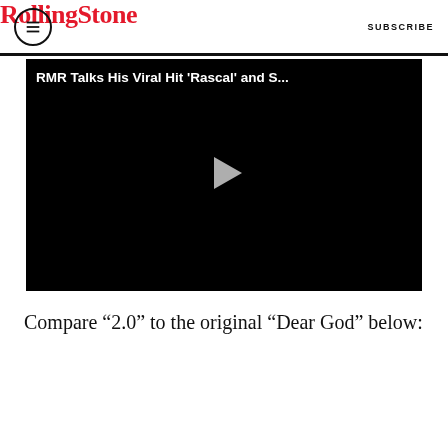Rolling Stone — SUBSCRIBE
[Figure (screenshot): Embedded video player with black background and play button, titled 'RMR Talks His Viral Hit 'Rascal' and S...']
Compare “2.0” to the original “Dear God” below: